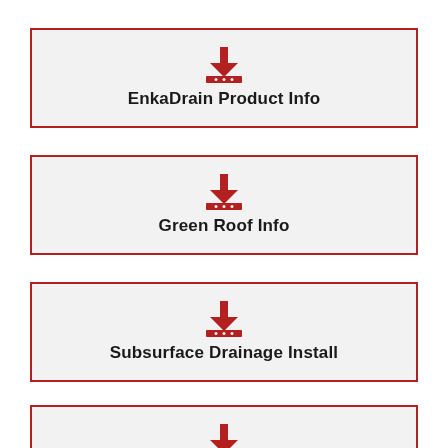[Figure (infographic): Download icon (red arrow pointing down onto a platform with dots) with label 'EnkaDrain Product Info']
[Figure (infographic): Download icon (red arrow pointing down onto a platform with dots) with label 'Green Roof Info']
[Figure (infographic): Download icon (red arrow pointing down onto a platform with dots) with label 'Subsurface Drainage Install']
[Figure (infographic): Download icon (red arrow pointing down onto a platform with dots) with label 'Foundation Drain' (partially visible)]